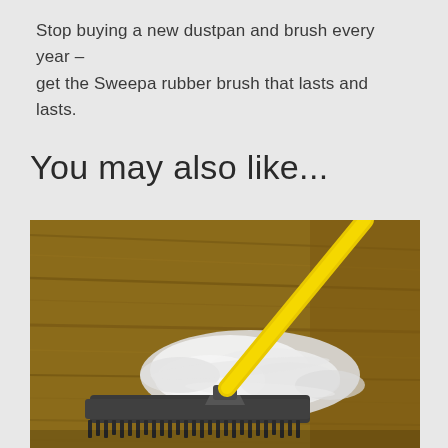Stop buying a new dustpan and brush every year – get the Sweepa rubber brush that lasts and lasts.
You may also like...
[Figure (photo): A rubber broom with a yellow handle sweeping white fluffy dust and hair on a wooden floor. The broom head is dark grey/black with rubber bristles.]